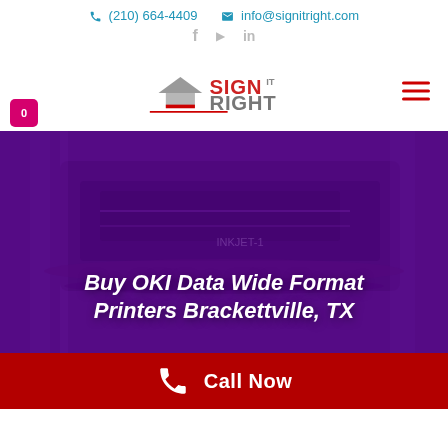(210) 664-4409  info@signitright.com
[Figure (logo): Sign It Right logo with pencil/arrow graphic and red/gray text]
Buy OKI Data Wide Format Printers Brackettville, TX
[Figure (photo): Purple-overlaid industrial wide format printer machinery background image]
Call Now